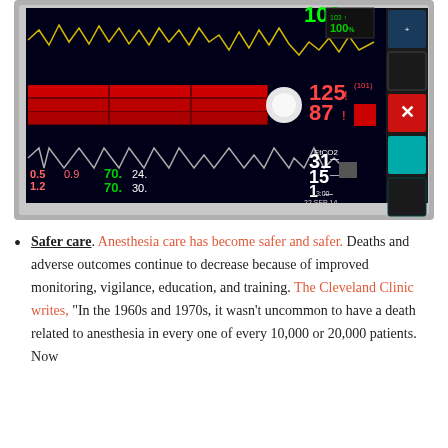[Figure (photo): A medical patient monitor screen showing vital signs including waveforms (ECG/pulse oximetry in yellow and white), blood pressure readings (125/87), heart rate (103), SpO2 (100), EtCO2 (31), and other parameters (15, 1, 0.5, 0.9, 1.2, 70, 24, 70, 30). The monitor display shows date 22 SEP 14 and time 13:00. The screen has a dark background with colored numerical readouts and waveform traces.]
Safer care. Anesthesia care has become safer and safer. Deaths and adverse outcomes continue to decrease because of improved monitoring, vigilance, education, and training. The Cleveland Clinic writes, "In the 1960s and 1970s, it wasn't uncommon to have a death related to anesthesia in every one of every 10,000 or 20,000 patients. Now